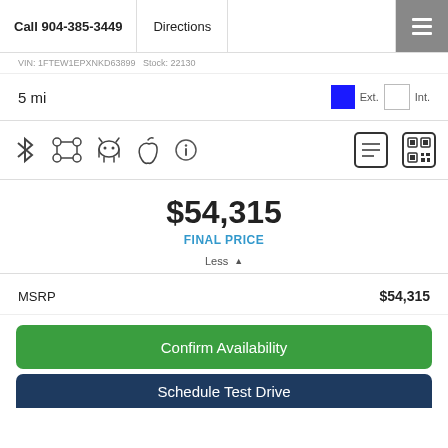Call 904-385-3449   Directions
VIN: 1FTEW1EPXNKD63899   Stock: 22130
5 mi   Ext.   Int.
[Figure (infographic): Row of feature icons: Bluetooth, 4WD/AWD grid, Android robot, Apple logo, info circle, document icon, QR code icon]
$54,315
FINAL PRICE
Less ▲
MSRP   $54,315
Confirm Availability
Schedule Test Drive